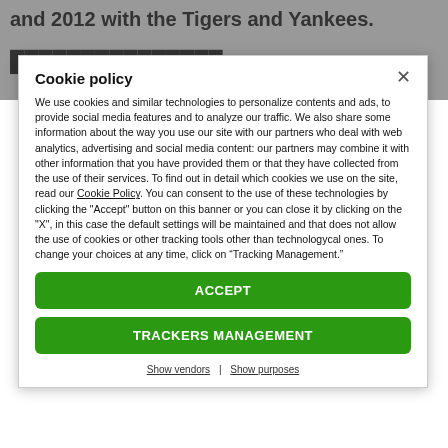and 2012 with the Tigers and Yankees.
Cookie policy
We use cookies and similar technologies to personalize contents and ads, to provide social media features and to analyze our traffic. We also share some information about the way you use our site with our partners who deal with web analytics, advertising and social media content: our partners may combine it with other information that you have provided them or that they have collected from the use of their services. To find out in detail which cookies we use on the site, read our Cookie Policy. You can consent to the use of these technologies by clicking the "Accept" button on this banner or you can close it by clicking on the "X", in this case the default settings will be maintained and that does not allow the use of cookies or other tracking tools other than technologycal ones. To change your choices at any time, click on “Tracking Management.”
ACCEPT
TRACKERS MANAGEMENT
Show vendors | Show purposes